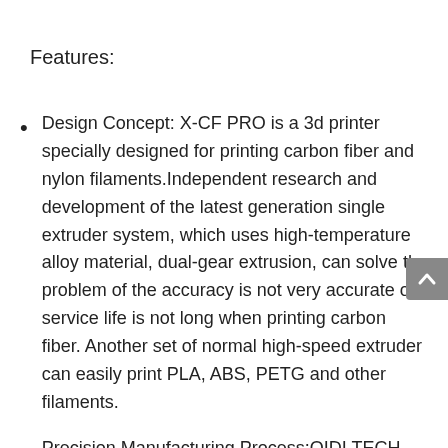Features:
Design Concept: X-CF PRO is a 3d printer specially designed for printing carbon fiber and nylon filaments.Independent research and development of the latest generation single extruder system, which uses high-temperature alloy material, dual-gear extrusion, can solve the problem of the accuracy is not very accurate or service life is not long when printing carbon fiber. Another set of normal high-speed extruder can easily print PLA, ABS, PETG and other filaments.
Precision Manufacturing Process:QIDI TECH using industrial-grade manufacturing, dual z-axis and industrial guide, can achieve high-precision, fast...